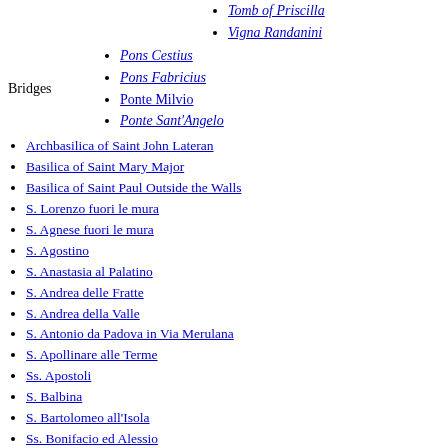Tomb of Priscilla
Vigna Randanini
Pons Cestius
Pons Fabricius
Ponte Milvio
Ponte Sant'Angelo
Archbasilica of Saint John Lateran
Basilica of Saint Mary Major
Basilica of Saint Paul Outside the Walls
S. Lorenzo fuori le mura
S. Agnese fuori le mura
S. Agostino
S. Anastasia al Palatino
S. Andrea delle Fratte
S. Andrea della Valle
S. Antonio da Padova in Via Merulana
S. Apollinare alle Terme
Ss. Apostoli
S. Balbina
S. Bartolomeo all'Isola
Ss. Bonifacio ed Alessio
S. Camillo de Lellis
S. Carlo al Corso